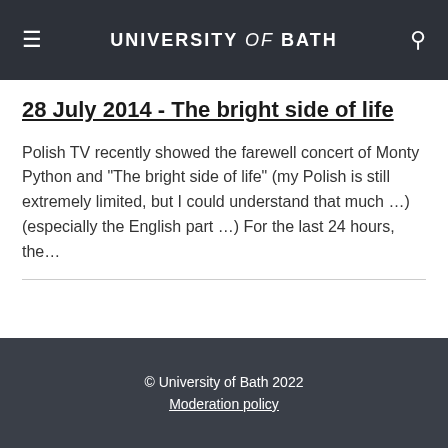UNIVERSITY of BATH
28 July 2014 - The bright side of life
Polish TV recently showed the farewell concert of Monty Python and "The bright side of life" (my Polish is still extremely limited, but I could understand that much …) (especially the English part …) For the last 24 hours, the…
© University of Bath 2022
Moderation policy